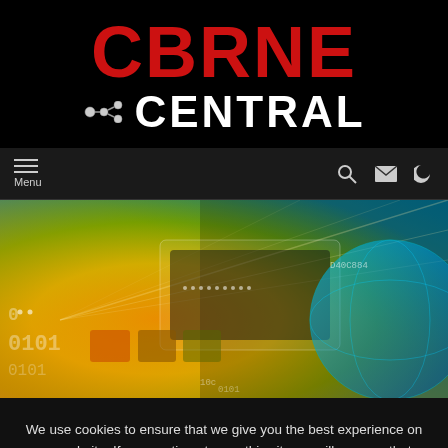[Figure (logo): CBRNE Central logo — bold red 'CBRNE' text above white 'CENTRAL' text with a molecule/network icon, all on black background]
[Figure (screenshot): Navigation bar with hamburger Menu icon on left and search, email, and crescent/moon icons on right, dark background]
[Figure (photo): Technology hero image showing digital binary code, a glowing circuit board or credit card, and a world globe in orange, yellow, green and blue tones with text overlays including 'D40C884']
We use cookies to ensure that we give you the best experience on our website. If you continue to use this site we will assume that you are happy with it.